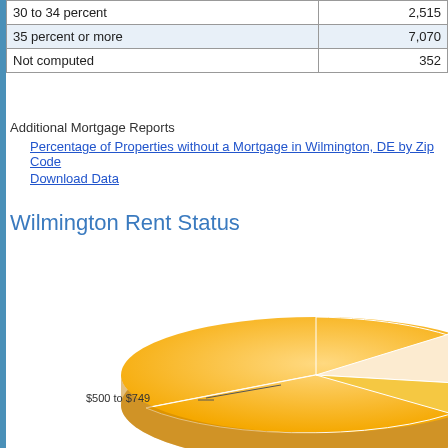| 30 to 34 percent | 2,515 |
| 35 percent or more | 7,070 |
| Not computed | 352 |
Additional Mortgage Reports
Percentage of Properties without a Mortgage in Wilmington, DE by Zip Code
Download Data
Wilmington Rent Status
[Figure (pie-chart): 3D pie chart showing Wilmington Rent Status with a large dominant orange slice labeled $500 to $749 and smaller slices. The chart is partially visible, cropped at the bottom.]